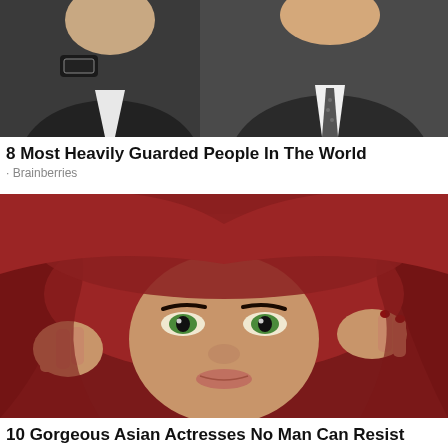[Figure (photo): Two men in suits, one wearing a watch, photographed from chest up]
8 Most Heavily Guarded People In The World
Brainberries
[Figure (photo): Woman with striking green eyes wearing a red head covering, looking intensely at camera]
10 Gorgeous Asian Actresses No Man Can Resist
Brainberries